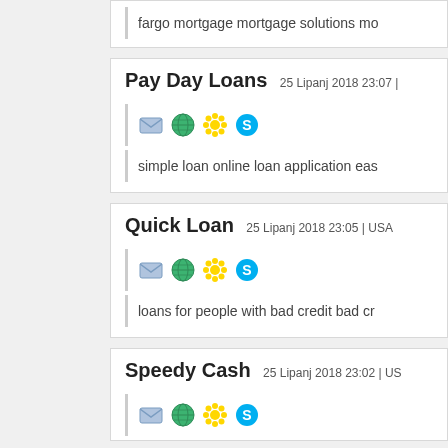fargo mortgage mortgage solutions mo
Pay Day Loans   25 Lipanj 2018 23:07 |
[Figure (infographic): Row of four icons: envelope, green globe, yellow flower/sun, blue Skype icon]
simple loan online loan application eas
Quick Loan   25 Lipanj 2018 23:05 | USA
[Figure (infographic): Row of four icons: envelope, green globe, yellow flower/sun, blue Skype icon]
loans for people with bad credit bad cr
Speedy Cash   25 Lipanj 2018 23:02 | US
[Figure (infographic): Row of four icons: envelope, green globe, yellow flower/sun, blue Skype icon]